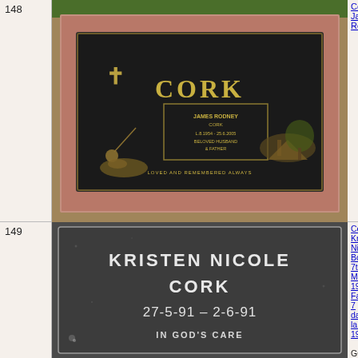148
[Figure (photo): Gravestone marker for James Rodney Cork, bronze plaque set in pink granite, showing name CORK, dates, and bronze relief sculpture of a person fishing with a tent scene]
Cork, James Ro...
149
[Figure (photo): Dark granite gravestone for KRISTEN NICOLE CORK, dates 27-5-91 - 2-6-91, inscription IN GOD'S CARE]
Cork, Kristen Nicole. Born 7th May 19... Father 7 days la... 1991. GOD'S LOAN "I'll send you for... A child of mine," "For you to love ... And mourn for w... "It may six or se... Or twenty-two o... But will you till l... Take care of this...